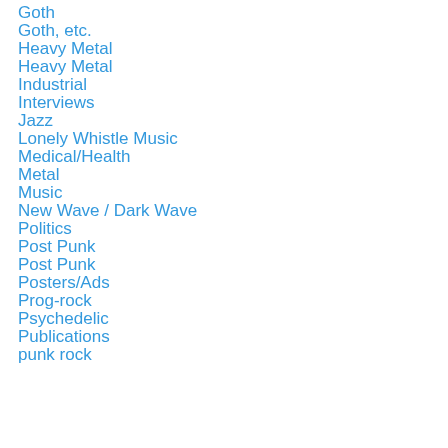Goth
Goth, etc.
Heavy Metal
Heavy Metal
Industrial
Interviews
Jazz
Lonely Whistle Music
Medical/Health
Metal
Music
New Wave / Dark Wave
Politics
Post Punk
Post Punk
Posters/Ads
Prog-rock
Psychedelic
Publications
punk rock